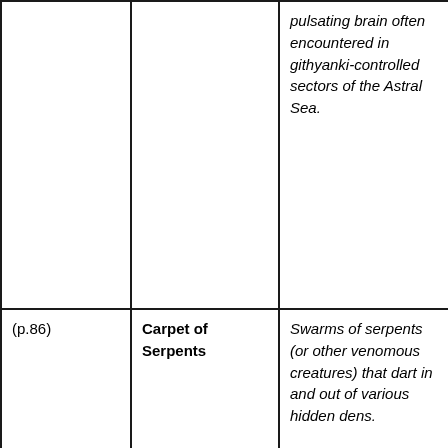|  |  | pulsating brain often encountered in githyanki-controlled sectors of the Astral Sea. |
| (p.86) | Carpet of Serpents | Swarms of serpents (or other venomous creatures) that dart in and out of various hidden dens. |
| (p.29) | Chainstorm | Phantasmal, shrieking chains are thought to be the echoes of an |